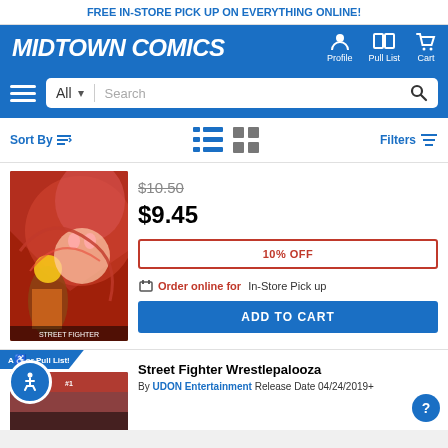FREE IN-STORE PICK UP ON EVERYTHING ONLINE!
[Figure (logo): Midtown Comics logo with navigation icons for Profile, Pull List, Cart]
[Figure (screenshot): Search bar with All category dropdown and search icon]
Sort By | Filters
[Figure (photo): Comic book cover featuring anime/comic style characters - a girl in leopard print with a cat mascot and monster]
$10.50 (strikethrough original price)
$9.45
10% OFF
Order online for In-Store Pick up
ADD TO CART
Add to Pull List!
Street Fighter Wrestlepalooza
By UDON Entertainment Release Date 04/24/2019+